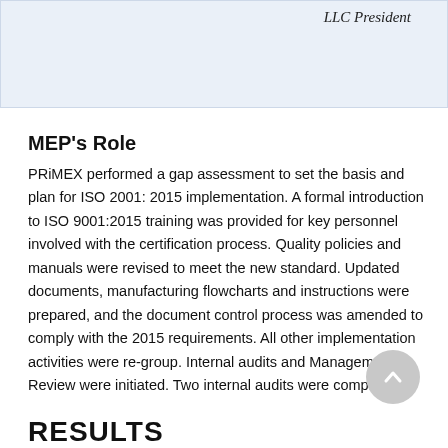LLC President
MEP's Role
PRiMEX performed a gap assessment to set the basis and plan for ISO 2001: 2015 implementation.  A formal introduction to ISO 9001:2015 training was provided for key personnel involved with the certification process. Quality policies and manuals were revised to meet the new standard. Updated documents, manufacturing flowcharts and instructions were prepared, and the document control process was amended to comply with the 2015 requirements. All other implementation activities were re-group. Internal audits and Management Review were initiated. Two internal audits were completed.
RESULTS